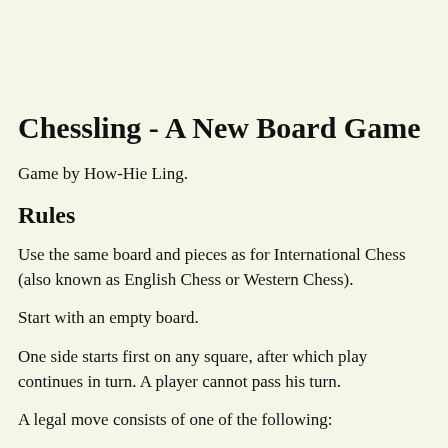Chessling - A New Board Game
Game by How-Hie Ling.
Rules
Use the same board and pieces as for International Chess (also known as English Chess or Western Chess).
Start with an empty board.
One side starts first on any square, after which play continues in turn. A player cannot pass his turn.
A legal move consists of one of the following:
placing one's own piece on an unoccupied square. The color